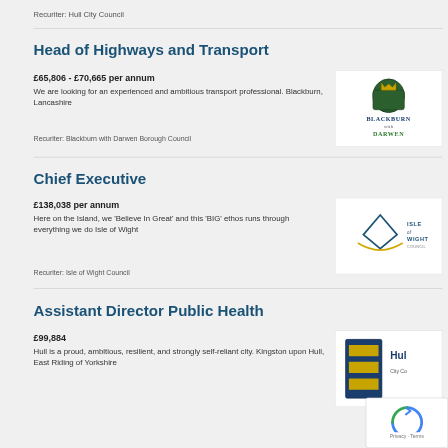Recuriter: Hull City Council
Head of Highways and Transport
£65,806 - £70,665 per annum
We are looking for an experienced and ambitious transport professional. Blackburn, Lancashire
Recuriter: Blackburn with Darwen Borough Council
[Figure (logo): Blackburn with Darwen Borough Council logo]
Chief Executive
£138,038 per annum
Here on the Island, we 'Believe In Great' and this 'BIG' ethos runs through everything we do Isle of Wight
Recuriter: Isle of Wight Council
[Figure (logo): Isle of Wight Council logo]
Assistant Director Public Health
£99,884
Hull is a proud, ambitious, resilient, and strongly self-reliant city. Kingston upon Hull, East Riding of Yorkshire
[Figure (logo): Hull City Council logo]
[Figure (other): reCAPTCHA widget showing Privacy and Terms]